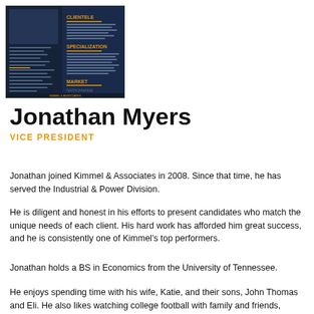[Figure (other): Thumbnail image of a resume/profile document for Jonathan Myers showing a dark navy background with sections for Clientele, Specialization, and Market]
Jonathan Myers
VICE PRESIDENT
Jonathan joined Kimmel & Associates in 2008. Since that time, he has served the Industrial & Power Division.
He is diligent and honest in his efforts to present candidates who match the unique needs of each client. His hard work has afforded him great success, and he is consistently one of Kimmel's top performers.
Jonathan holds a BS in Economics from the University of Tennessee.
He enjoys spending time with his wife, Katie, and their sons, John Thomas and Eli. He also likes watching college football with family and friends, golfing, road biking, and jogging.